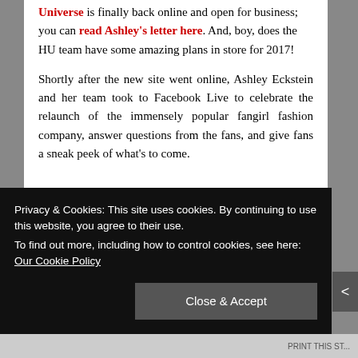Universe is finally back online and open for business; you can read Ashley's letter here. And, boy, does the HU team have some amazing plans in store for 2017!
Shortly after the new site went online, Ashley Eckstein and her team took to Facebook Live to celebrate the relaunch of the immensely popular fangirl fashion company, answer questions from the fans, and give fans a sneak peek of what's to come.
Privacy & Cookies: This site uses cookies. By continuing to use this website, you agree to their use.
To find out more, including how to control cookies, see here: Our Cookie Policy